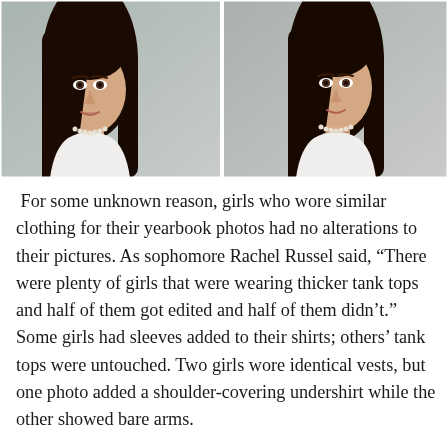[Figure (photo): Two side-by-side yearbook-style portrait photos of young women with long dark hair, wearing white tops and pearl necklaces, against a gray background.]
For some unknown reason, girls who wore similar clothing for their yearbook photos had no alterations to their pictures. As sophomore Rachel Russel said, “There were plenty of girls that were wearing thicker tank tops and half of them got edited and half of them didn’t.” Some girls had sleeves added to their shirts; others’ tank tops were untouched. Two girls wore identical vests, but one photo added a shoulder-covering undershirt while the other showed bare arms.